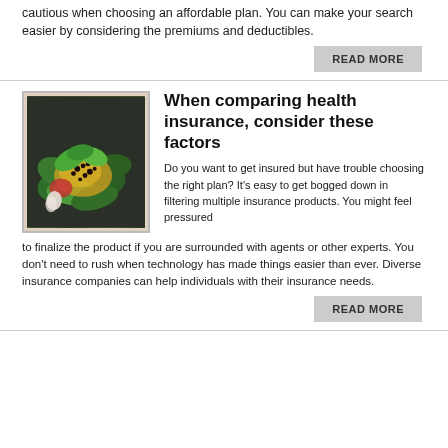cautious when choosing an affordable plan. You can make your search easier by considering the premiums and deductibles.
READ MORE
[Figure (photo): A photo of a healthy salad dish with green leaves, vegetables, and dressing on a dark background.]
When comparing health insurance, consider these factors
Do you want to get insured but have trouble choosing the right plan? It's easy to get bogged down in filtering multiple insurance products. You might feel pressured to finalize the product if you are surrounded with agents or other experts. You don't need to rush when technology has made things easier than ever. Diverse insurance companies can help individuals with their insurance needs.
READ MORE